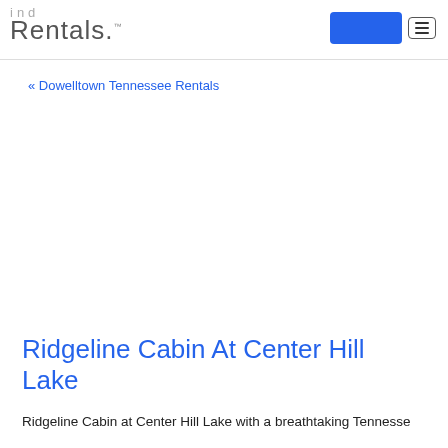Find Rentals.
« Dowelltown Tennessee Rentals
Ridgeline Cabin At Center Hill Lake
Ridgeline Cabin at Center Hill Lake with a breathtaking Tennesse